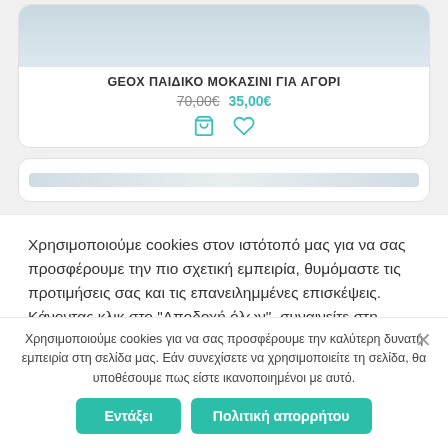[Figure (photo): Top portion of a product shoe image, light blue/grey tones, partially visible at top of card]
GEOX ΠΑΙΔΙΚΟ ΜΟΚΑΣΙΝΙ ΓΙΑ ΑΓΟΡΙ
70,00€ 35,00€
[Figure (illustration): Shopping cart and heart wishlist icons in teal/cyan color]
[Figure (screenshot): Partial second product card below]
Χρησιμοποιούμε cookies στον ιστότοπό μας για να σας προσφέρουμε την πιο σχετική εμπειρία, θυμόμαστε τις προτιμήσεις σας και τις επανειλημμένες επισκέψεις. Κάνοντας κλικ στο "Αποδοχή όλων", συναινείτε στη χρήση ΟΛΩΝ των
Χρησιμοποιούμε cookies για να σας προσφέρουμε την καλύτερη δυνατή εμπειρία στη σελίδα μας. Εάν συνεχίσετε να χρησιμοποιείτε τη σελίδα, θα υποθέσουμε πως είστε ικανοποιημένοι με αυτό.
Εντάξει
Πολιτική απορρήτου